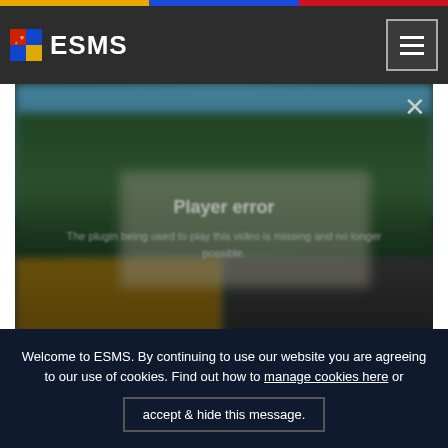ESMS
[Figure (screenshot): Video player showing blurred outdoor scene of a building with trees. A 'Player error' overlay is displayed with message: 'The plugin being used to play this video is missing and no longer possible.']
Welcome to ESMS. By continuing to use our website you are agreeing to our use of cookies. Find out how to manage cookies here or accept & hide this message.